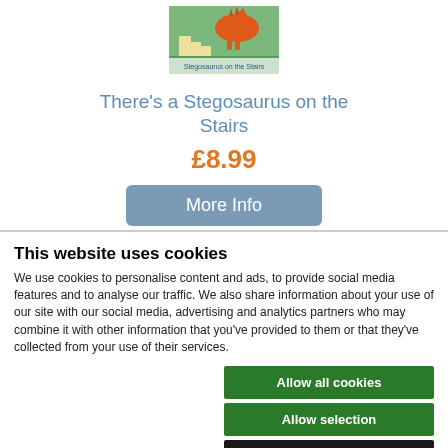[Figure (illustration): Book cover illustration showing a stegosaurus dinosaur on stairs with a house background]
There's a Stegosaurus on the Stairs
£8.99
More Info
This website uses cookies
We use cookies to personalise content and ads, to provide social media features and to analyse our traffic. We also share information about your use of our site with our social media, advertising and analytics partners who may combine it with other information that you've provided to them or that they've collected from your use of their services.
Allow all cookies
Allow selection
Use necessary cookies only
Necessary | Preferences | Statistics | Marketing | Show details